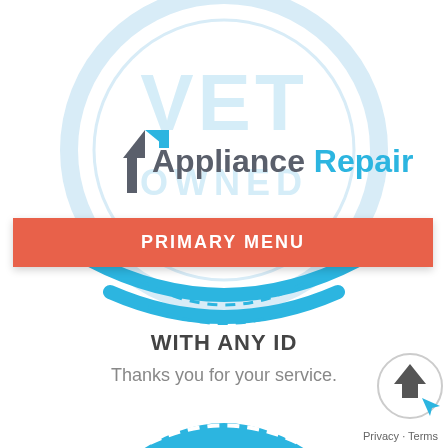[Figure (logo): Appliance Repair logo with house icon in gray and blue, large circular watermark in background]
PRIMARY MENU
WITH ANY ID
Thanks you for your service.
[Figure (infographic): Partial circular badge/icon in blue at the bottom center of the page]
[Figure (logo): Back-to-top button icon in bottom right corner]
Privacy · Terms